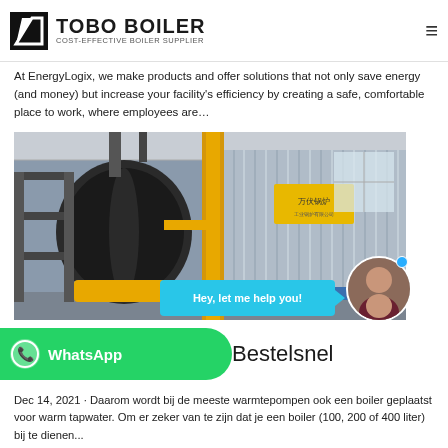TOBO BOILER — COST-EFFECTIVE BOILER SUPPLIER
At EnergyLogix, we make products and offer solutions that not only save energy (and money) but increase your facility's efficiency by creating a safe, comfortable place to work, where employees are…
[Figure (photo): Industrial boiler equipment in a factory setting. Left side shows a large cylindrical black/dark boiler with yellow burner components and scaffolding stairs. Right side shows a corrugated metal container/module with yellow piping and a Chinese brand sign. Overhead steel structure visible.]
Hey, let me help you!
WhatsApp  Bestelsnel
Dec 14, 2021 · Daarom wordt bij de meeste warmtepompen ook een boiler geplaatst voor warm tapwater. Om er zeker van te zijn dat je een boiler (100, 200 of 400 liter) bij te dienen...